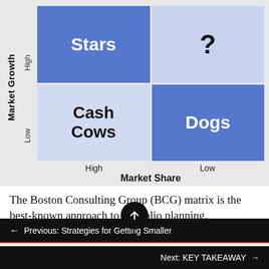[Figure (other): BCG Matrix 2x2 grid with Market Growth (y-axis, High/Low) and Market Share (x-axis, High/Low). Four quadrants: Stars (high growth, high share, blue), Question Mark (high growth, low share, light blue), Cash Cows (low growth, high share, light blue), Dogs (low growth, low share, blue).]
The Boston Consulting Group (BCG) matrix is the best-known approach to portfolio planning.
← Previous: Strategies for Getting Smaller
Next: KEY TAKEAWAY →